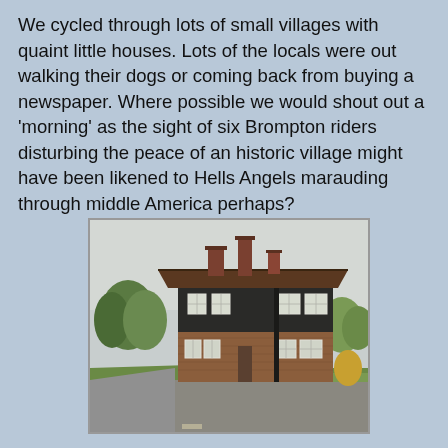We cycled through lots of small villages with quaint little houses. Lots of the locals were out walking their dogs or coming back from buying a newspaper. Where possible we would shout out a 'morning' as the sight of six Brompton riders disturbing the peace of an historic village might have been likened to Hells Angels marauding through middle America perhaps?
[Figure (photo): A quaint English village house with dark weatherboard cladding on the upper floor and red brick on the lower floor, featuring multiple chimneys and white-framed windows. The house sits at a road junction with a green verge. Overcast sky.]